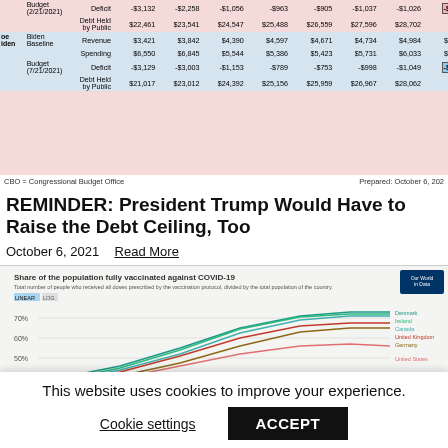|  |  |  | 2022 | 2023 | 2024 | 2025 | 2026 | 2027 | 2028 | 2029 | 2031 |
| --- | --- | --- | --- | --- | --- | --- | --- | --- | --- | --- | --- |
|  | Budget (2/21/2021) | Deficit | -$3,132 | -$2,258 | -$1,056 | -$963 | -$905 | -$1,037 | -$1,026 | -$4,988 | -$12,26 |
|  |  | Debt Held by Public | $22,461 | $23,541 | $24,547 | $25,488 | $26,559 | $27,596 | $28,702 | na | n |
| oe Biden Baseline | Biden | Revenue | $3,421 | $3,842 | $4,390 | $4,597 | $4,671 | $4,734 | $4,984 | $23,376 | $51,30 |
|  |  | Spending | $6,550 | $6,845 | $5,544 | $5,386 | $5,423 | $5,731 | $6,033 | $28,118 | $63,40 |
|  | Budget (7/21/2021) | Deficit | -$3,129 | -$3,003 | -$1,153 | -$789 | -$753 | -$998 | -$1,049 | -$4,741 | -$12,09 |
|  |  | Debt Held by Public | $21,017 | $23,012 | $24,392 | $25,156 | $25,959 | $26,967 | $28,062 | na | n |
CBO = Congressional Budget Office    Prepared: October 6, 2021
REMINDER: President Trump Would Have to Raise the Debt Ceiling, Too
October 6, 2021
Read More
[Figure (line-chart): Line chart showing share of population fully vaccinated against COVID-19 for Denmark, Ireland, Canada, United Kingdom, Germany, and United States. Y-axis shows percentages from 40% to 70%+. Multiple lines trending upward.]
This website uses cookies to improve your experience.
Cookie settings    ACCEPT